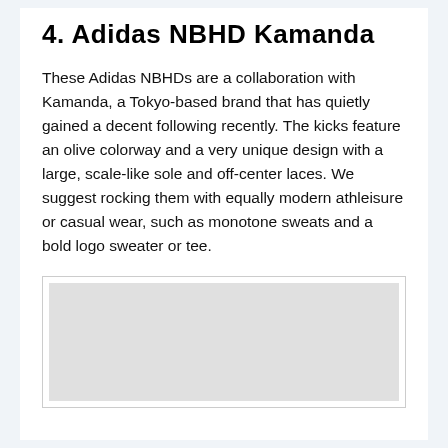4. Adidas NBHD Kamanda
These Adidas NBHDs are a collaboration with Kamanda, a Tokyo-based brand that has quietly gained a decent following recently. The kicks feature an olive colorway and a very unique design with a large, scale-like sole and off-center laces. We suggest rocking them with equally modern athleisure or casual wear, such as monotone sweats and a bold logo sweater or tee.
[Figure (photo): Placeholder image area for Adidas NBHD Kamanda shoe photo]